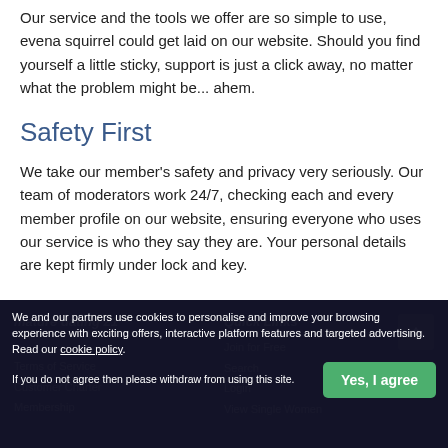Our service and the tools we offer are so simple to use, even a squirrel could get laid on our website. Should you find yourself a little sticky, support is just a click away, no matter what the problem might be... ahem.
Safety First
We take our member's safety and privacy very seriously. Our team of moderators work 24/7, checking each and every member profile on our website, ensuring everyone who uses our service is who they say they are. Your personal details are kept firmly under lock and key.
We and our partners use cookies to personalise and improve your browsing experience with exciting offers, interactive platform features and targeted advertising. Read our cookie policy. If you do not agree then please withdraw from using this site.